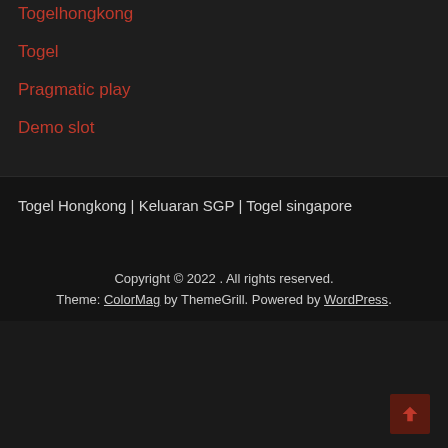Togel hongkong
Togel
Pragmatic play
Demo slot
Togel Hongkong | Keluaran SGP | Togel singapore
Copyright © 2022 . All rights reserved. Theme: ColorMag by ThemeGrill. Powered by WordPress.